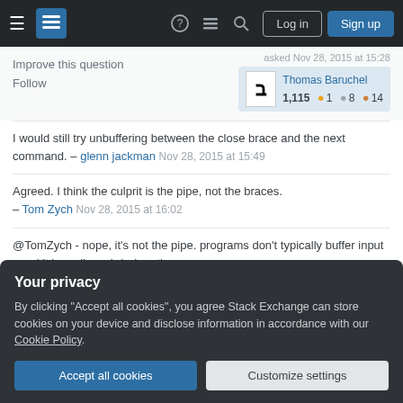Stack Exchange navigation bar with Log in and Sign up buttons
Improve this question  Follow  asked Nov 28, 2015 at 15:28  Thomas Baruchel  1,115 ● 1 ● 8 ● 14
I would still try unbuffering between the close brace and the next command. – glenn jackman Nov 28, 2015 at 15:49
Agreed. I think the culprit is the pipe, not the braces. – Tom Zych Nov 28, 2015 at 16:02
@TomZych - nope, it's not the pipe. programs don't typically buffer input - and it is really weird when they
Your privacy
By clicking "Accept all cookies", you agree Stack Exchange can store cookies on your device and disclose information in accordance with our Cookie Policy.
Accept all cookies   Customize settings
wrong. It wasn't the pipe. See my answer below.